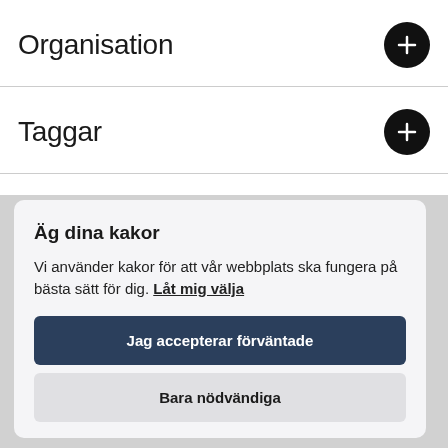Organisation
Taggar
Äg dina kakor
Vi använder kakor för att vår webbplats ska fungera på bästa sätt för dig. Låt mig välja
Jag accepterar förväntade
Bara nödvändiga